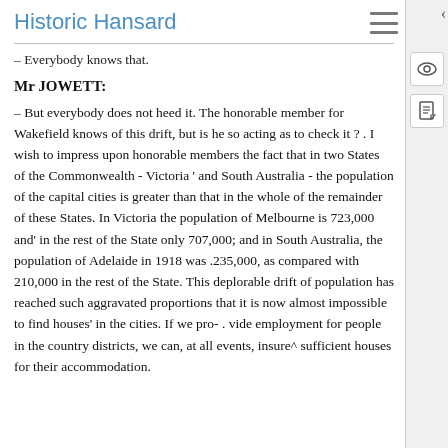Historic Hansard
– Everybody knows that.
Mr JOWETT:
– But everybody does not heed it. The honorable member for Wakefield knows of this drift, but is he so acting as to check it ? . I wish to impress upon honorable members the fact that in two States of the Commonwealth - Victoria ' and South Australia - the population of the capital cities is greater than that in the whole of the remainder of these States. In Victoria the population of Melbourne is 723,000 and' in the rest of the State only 707,000; and in South Australia, the population of Adelaide in 1918 was .235,000, as compared with 210,000 in the rest of the State. This deplorable drift of population has reached such aggravated proportions that it is now almost impossible to find houses' in the cities. If we pro- . vide employment for people in the country districts, we can, at all events, insure^ sufficient houses for their accommodation.